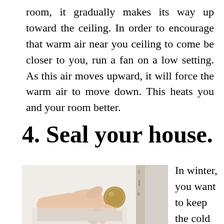room, it gradually makes its way up toward the ceiling. In order to encourage that warm air near you ceiling to come be closer to you, run a fan on a low setting. As this air moves upward, it will force the warm air to move down. This heats you and your room better.
4. Seal your house.
[Figure (photo): A hand gripping a round brass door knob on a white door, with a door frame visible on the right side.]
In winter, you want to keep the cold air outside of your house. One of the